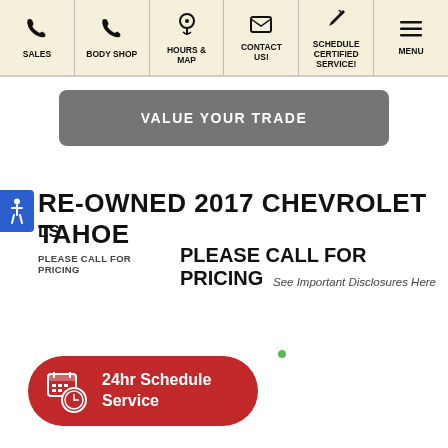SALES | BODY SHOP | HOURS & MAP | CONTACT US! | SCHEDULE CERTIFIED SERVICE! | MENU
VALUE YOUR TRADE
RE-OWNED 2017 CHEVROLET TAHOE LS
PLEASE CALL FOR PRICING  PLEASE CALL FOR PRICING
See Important Disclosures Here
[Figure (other): Red rounded button with calendar and clock icon labeled '24hr Schedule Service']